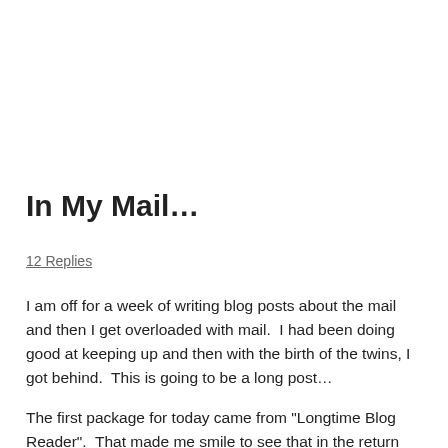In My Mail…
12 Replies
I am off for a week of writing blog posts about the mail and then I get overloaded with mail.  I had been doing good at keeping up and then with the birth of the twins, I got behind.  This is going to be a long post…
The first package for today came from “Longtime Blog Reader”.  That made me smile to see that in the return